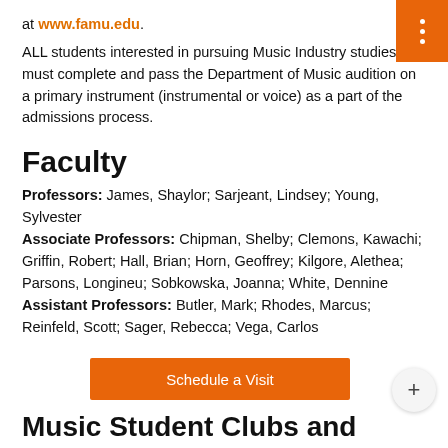at www.famu.edu.
ALL students interested in pursuing Music Industry studies must complete and pass the Department of Music audition on a primary instrument (instrumental or voice) as a part of the admissions process.
Faculty
Professors: James, Shaylor; Sarjeant, Lindsey; Young, Sylvester
Associate Professors: Chipman, Shelby; Clemons, Kawachi; Griffin, Robert; Hall, Brian; Horn, Geoffrey; Kilgore, Alethea; Parsons, Longineu; Sobkowska, Joanna; White, Dennine
Assistant Professors: Butler, Mark; Rhodes, Marcus; Reinfeld, Scott; Sager, Rebecca; Vega, Carlos
Music Student Clubs and